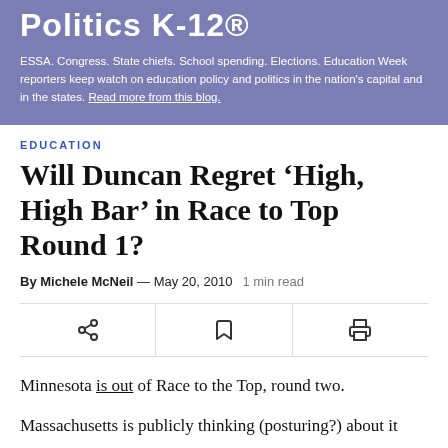Politics K-12®
ESSA. Congress. State chiefs. School spending. Elections. Education Week reporters keep watch on education policy and politics in the nation's capital and in the states. Read more from this blog.
EDUCATION
Will Duncan Regret ‘High, High Bar’ in Race to Top Round 1?
By Michele McNeil — May 20, 2010   1 min read
[Figure (infographic): Action bar with share, bookmark, and print icons]
Minnesota is out of Race to the Top, round two.
Massachusetts is publicly thinking (posturing?) about it